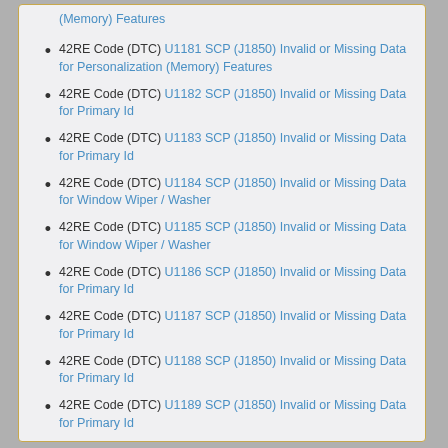42RE Code (DTC) U1181 SCP (J1850) Invalid or Missing Data for Personalization (Memory) Features
42RE Code (DTC) U1181 SCP (J1850) Invalid or Missing Data for Personalization (Memory) Features
42RE Code (DTC) U1182 SCP (J1850) Invalid or Missing Data for Primary Id
42RE Code (DTC) U1183 SCP (J1850) Invalid or Missing Data for Primary Id
42RE Code (DTC) U1184 SCP (J1850) Invalid or Missing Data for Window Wiper / Washer
42RE Code (DTC) U1185 SCP (J1850) Invalid or Missing Data for Window Wiper / Washer
42RE Code (DTC) U1186 SCP (J1850) Invalid or Missing Data for Primary Id
42RE Code (DTC) U1187 SCP (J1850) Invalid or Missing Data for Primary Id
42RE Code (DTC) U1188 SCP (J1850) Invalid or Missing Data for Primary Id
42RE Code (DTC) U1189 SCP (J1850) Invalid or Missing Data for Primary Id